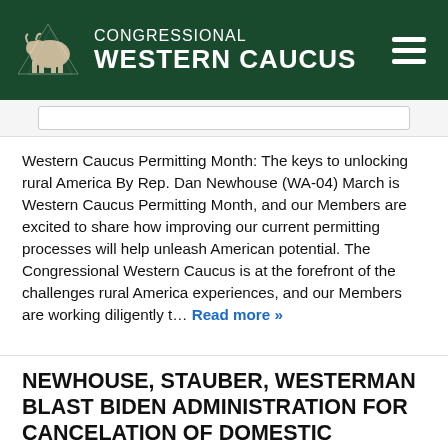CONGRESSIONAL WESTERN CAUCUS
Western Caucus Permitting Month: The keys to unlocking rural America By Rep. Dan Newhouse (WA-04) March is Western Caucus Permitting Month, and our Members are excited to share how improving our current permitting processes will help unleash American potential. The Congressional Western Caucus is at the forefront of the challenges rural America experiences, and our Members are working diligently t… Read more »
NEWHOUSE, STAUBER, WESTERMAN BLAST BIDEN ADMINISTRATION FOR CANCELATION OF DOMESTIC MINERAL LEASES IN MINNESOTA